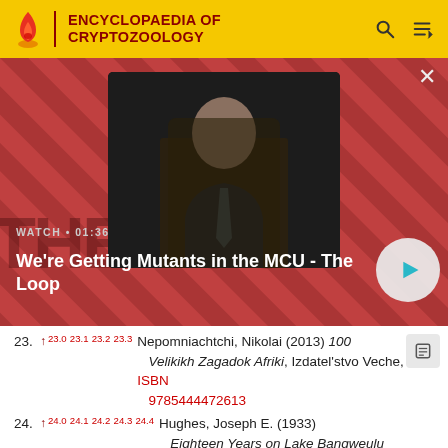ENCYCLOPAEDIA OF CRYPTOZOOLOGY
[Figure (screenshot): Video thumbnail showing a bald man in a suit seated in a chair, with red diagonal striped background. WATCH • 01:36 label and title 'We're Getting Mutants in the MCU - The Loop' with play button.]
23. ↑ 23.0 23.1 23.2 23.3 Nepomniachtchi, Nikolai (2013) 100 Velikikh Zagadok Afriki, Izdatel'stvo Veche, ISBN 9785444472613
24. ↑ 24.0 24.1 24.2 24.3 24.4 Hughes, Joseph E. (1933) Eighteen Years on Lake Bangweulu